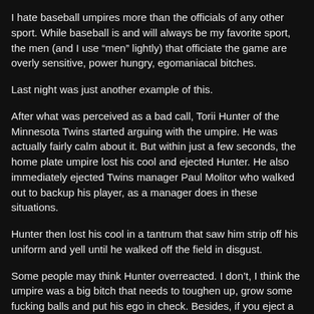I hate baseball umpires more than the officials of any other sport. While baseball is and will always be my favorite sport, the men (and I use “men” lightly) that officiate the game are overly sensitive, power hungry, egomaniacal bitches.
Last night was just another example of this.
After what was perceived as a bad call, Torii Hunter of the Minnesota Twins started arguing with the umpire. He was actually fairly calm about it. But within just a few seconds, the home plate umpire lost his cool and ejected Hunter. He also immediately ejected Twins manager Paul Molitor who walked out to backup his player, as a manager does in these situations.
Hunter then lost his cool in a tantrum that saw him strip off his uniform and yell until he walked off the field in disgust.
Some people may think Hunter overreacted. I don’t, I think the umpire was a big bitch that needs to toughen up, grow some fucking balls and put his ego in check. Besides, if you eject a player for getting mad about a call, once he’s ejected, what is to then stop him from escalating his tirade? A fine? A suspension?
A guy like Hunter is a multimillionaire and he doesn’t care about some bullshit